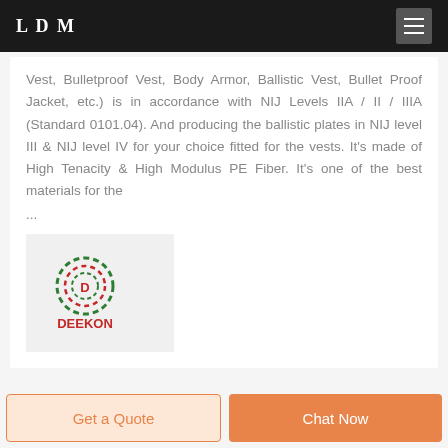LDM
Vest, Bulletproof Vest, Body Armor, Ballistic Vest, Bullet Proof Jacket, etc.) is in accordance with NIJ Levels IIA / II / IIIA (Standard 0101.04). And producing the ballistic plates in NIJ level III & NIJ level IV for your choice fitted for the vests. It's made of High Tenacity & High Modulus PE Fiber. It's one of the best materials for the ...
[Figure (logo): DEEKON logo with circular target icon in green and red, with bold red text DEEKON below]
Get a Quote
Chat Now